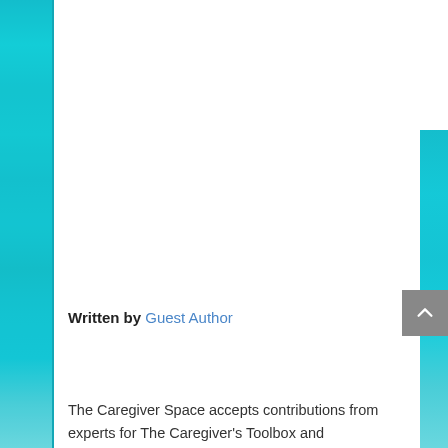[Figure (illustration): Teal/turquoise watercolor decorative bands on the left and right edges of the page, serving as a decorative border element for a website article page.]
Written by Guest Author
The Caregiver Space accepts contributions from experts for The Caregiver's Toolbox and